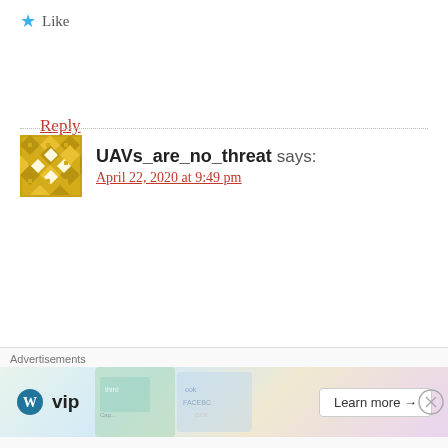★ Like
Reply
UAVs_are_no_threat says:
April 22, 2020 at 9:49 pm
The MBT is called dead since its inception in WW1…..
On your points:
Kamikaze UAVs are a evolutionary dead end in my oppinion. The micro size of them is too vulnerable to everything, especially
Advertisements
[Figure (screenshot): WordPress VIP advertisement banner with WordPress logo, social media card imagery, and Learn more button]